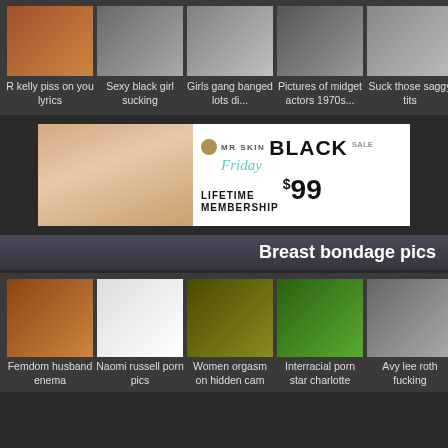[Figure (other): Thumbnail carousel with 5 adult content thumbnails and right navigation arrow. Items: R kelly piss on you lyrics, Sexy black girl sucking, Girls gang banged lots di..., Pictures of midget actors 1970s..., Suck those saggy tits]
[Figure (other): MR SKIN Black Friday SALE banner advertisement - LIFETIME MEMBERSHIP $99]
Breast bondage pics
[Figure (other): Thumbnail carousel with 5 adult content thumbnails and right navigation arrow. Items: Femdom husband enema, Naomi russell porn pics, Women orgasm on hidden cam, Interracial porn star charlotte, Avy lee roth fucking]